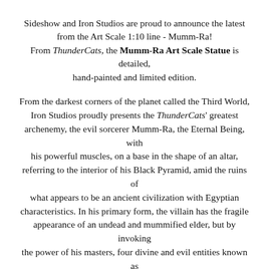Sideshow and Iron Studios are proud to announce the latest from the Art Scale 1:10 line - Mumm-Ra! From ThunderCats, the Mumm-Ra Art Scale Statue is detailed, hand-painted and limited edition.
From the darkest corners of the planet called the Third World, Iron Studios proudly presents the ThunderCats' greatest archenemy, the evil sorcerer Mumm-Ra, the Eternal Being, with his powerful muscles, on a base in the shape of an altar, referring to the interior of his Black Pyramid, amid the ruins of what appears to be an ancient civilization with Egyptian characteristics. In his primary form, the villain has the fragile appearance of an undead and mummified elder, but by invoking the power of his masters, four divine and evil entities known as the "Ancient Spirits of Evil", the bands that cover his body are completely torn, and he changes his shape, making him, who previously had a decadent appearance, become the king of eternal life, a muscular, blue-gray giant with the appearance of an ancient pharaoh, with an adorned helmet and a symbol on